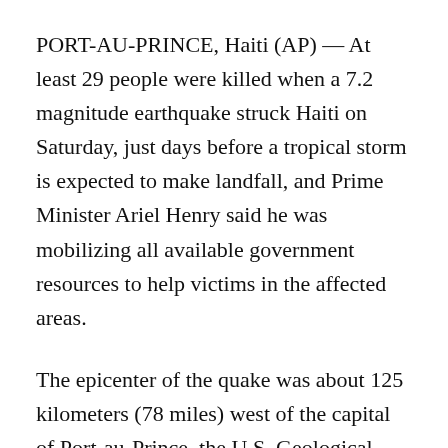PORT-AU-PRINCE, Haiti (AP) — At least 29 people were killed when a 7.2 magnitude earthquake struck Haiti on Saturday, just days before a tropical storm is expected to make landfall, and Prime Minister Ariel Henry said he was mobilizing all available government resources to help victims in the affected areas.
The epicenter of the quake was about 125 kilometers (78 miles) west of the capital of Port-au-Prince, the U.S. Geological Survey said, and widespread damage was reported.
Jerry Chandler, Haiti's director of civil protection, told the AP that the death toll stood